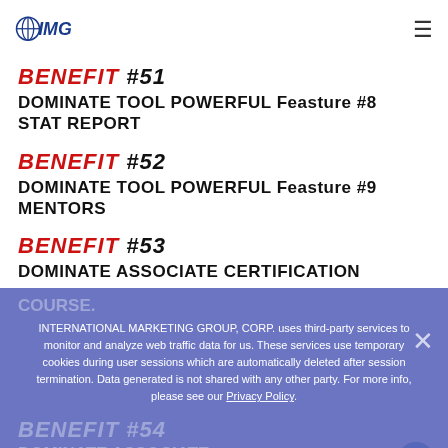IMG logo and navigation menu
BENEFIT #51
DOMINATE TOOL POWERFUL Feasture #8 STAT REPORT
BENEFIT #52
DOMINATE TOOL POWERFUL Feasture #9 MENTORS
BENEFIT #53
DOMINATE ASSOCIATE CERTIFICATION COURSE.
INTERNATIONAL MARKETING GROUP, CORP. uses third-party services to monitor and analyze web traffic data for us. These services use temporary cookies during user sessions which are automatically deleted after session termination. Data generated is not shared with any other party. For more info, please see our Privacy Policy.